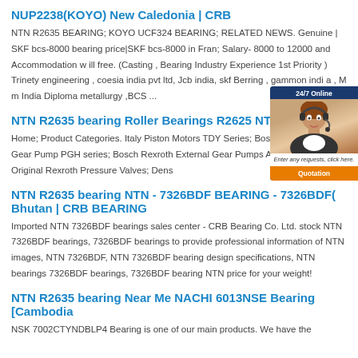NUP2238(KOYO) New Caledonia | CRB
NTN R2635 BEARING; KOYO UCF324 BEARING; RELATED NEWS. Genuine | SKF bcs-8000 bearing price|SKF bcs-8000 in Fran; Salary- 8000 to 12000 and Accommodation w ill free. (Casting , Bearing Industry Experience 1st Priority ) Trinety engineering , coesia india pvt ltd, Jcb india, skf Berring , gammon india , M m India Diploma metallurgy ,BCS ...
NTN R2635 bearing Roller Bearings R2625 NTN stock wi...
Home; Product Categories. Italy Piston Motors TDY Series; Bosch Rexroth Gear Pump PGH series; Bosch Rexroth External Gear Pumps AZPG se... Original Rexroth Pressure Valves; Dens
[Figure (photo): Customer support chat widget with photo of woman wearing headset, '24/7 Online' header, message 'Enter any requests, click here.' and an orange 'Quotation' button]
NTN R2635 bearing NTN - 7326BDF BEARING - 7326BDF(... Bhutan | CRB BEARING
Imported NTN 7326BDF bearings sales center - CRB Bearing Co. Ltd. stock NTN 7326BDF bearings, 7326BDF bearings to provide professional information of NTN images, NTN 7326BDF, NTN 7326BDF bearing design specifications, NTN bearings 7326BDF bearings, 7326BDF bearing NTN price for your weight!
NTN R2635 bearing Near Me NACHI 6013NSE Bearing [Cambodia
NSK 7002CTYNDBLP4 Bearing is one of our main products. We have the